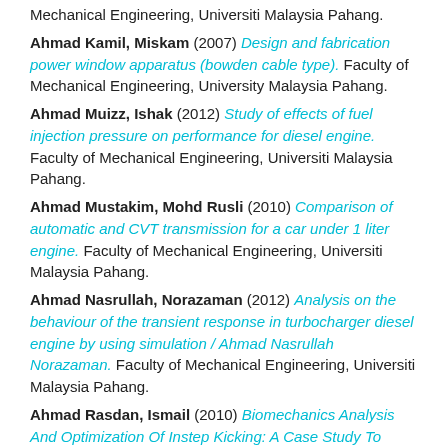Mechanical Engineering, Universiti Malaysia Pahang.
Ahmad Kamil, Miskam (2007) Design and fabrication power window apparatus (bowden cable type). Faculty of Mechanical Engineering, University Malaysia Pahang.
Ahmad Muizz, Ishak (2012) Study of effects of fuel injection pressure on performance for diesel engine. Faculty of Mechanical Engineering, Universiti Malaysia Pahang.
Ahmad Mustakim, Mohd Rusli (2010) Comparison of automatic and CVT transmission for a car under 1 liter engine. Faculty of Mechanical Engineering, Universiti Malaysia Pahang.
Ahmad Nasrullah, Norazaman (2012) Analysis on the behaviour of the transient response in turbocharger diesel engine by using simulation / Ahmad Nasrullah Norazaman. Faculty of Mechanical Engineering, Universiti Malaysia Pahang.
Ahmad Rasdan, Ismail (2010) Biomechanics Analysis And Optimization Of Instep Kicking: A Case Study To Malaysian Footballer. In: National Conference in Mechanical Engineering Research and Postgraduate Students (1st NCMER 2010), 26-27 May 2010, EKM Conference Hall, UMP, Kuantan